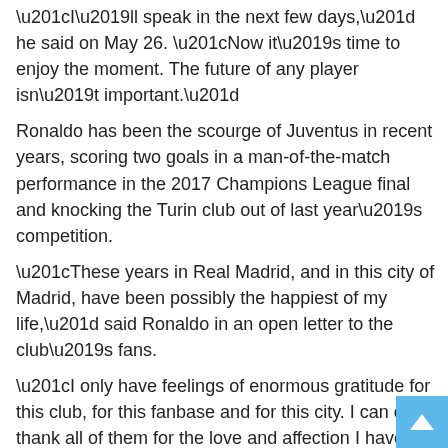“I’ll speak in the next few days,” he said on May 26. “Now it’s time to enjoy the moment. The future of any player isn’t important.”
Ronaldo has been the scourge of Juventus in recent years, scoring two goals in a man-of-the-match performance in the 2017 Champions League final and knocking the Turin club out of last year’s competition.
“These years in Real Madrid, and in this city of Madrid, have been possibly the happiest of my life,” said Ronaldo in an open letter to the club’s fans.
“I only have feelings of enormous gratitude for this club, for this fanbase and for this city. I can only thank all of them for the love and affection I have received.
“However, I believe that the time has come to open a new stage in my life and that is why I have asked the club to accept transferring me. I feel that way and I ask everyone, and especially our followers, to please understand me.”